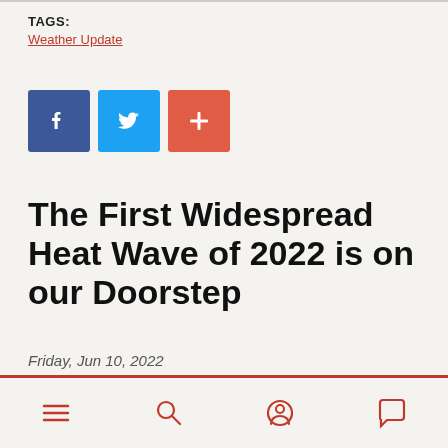TAGS:
Weather Update
[Figure (other): Social sharing buttons: Facebook (blue), Twitter (light blue), and a plus/share button (orange-red)]
The First Widespread Heat Wave of 2022 is on our Doorstep
Friday, Jun 10, 2022
Departure from Normal Temperature (F)
Navigation bar with menu, search, profile, and comment icons